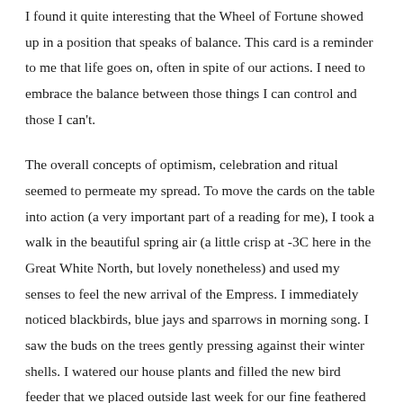I found it quite interesting that the Wheel of Fortune showed up in a position that speaks of balance. This card is a reminder to me that life goes on, often in spite of our actions. I need to embrace the balance between those things I can control and those I can't.
The overall concepts of optimism, celebration and ritual seemed to permeate my spread. To move the cards on the table into action (a very important part of a reading for me), I took a walk in the beautiful spring air (a little crisp at -3C here in the Great White North, but lovely nonetheless) and used my senses to feel the new arrival of the Empress. I immediately noticed blackbirds, blue jays and sparrows in morning song. I saw the buds on the trees gently pressing against their winter shells. I watered our house plants and filled the new bird feeder that we placed outside last week for our fine feathered friends.  Dear Empress, the sights and sounds of this season, only hours old, remind me that this is a time of renewal for all.